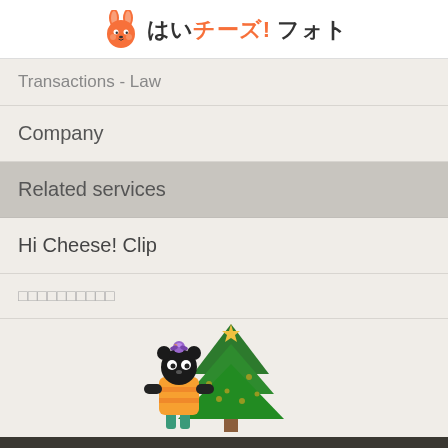はいチーズ! フォト
Transactions - Law
Company
Related services
Hi Cheese! Clip
□□□□□□□□□□
[Figure (illustration): Cartoon bear mascot in orange striped outfit with bird on head, standing next to a green Christmas tree with star decorations]
日本語 | English | 한국어 © SEN CORPORATION